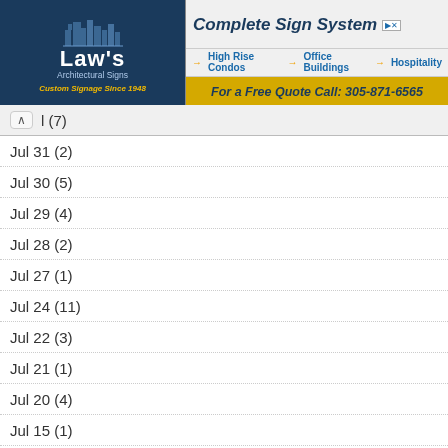[Figure (other): Law's Architectural Signs banner advertisement with logo and Complete Sign System ad]
^ l (7)
Jul 31 (2)
Jul 30 (5)
Jul 29 (4)
Jul 28 (2)
Jul 27 (1)
Jul 24 (11)
Jul 22 (3)
Jul 21 (1)
Jul 20 (4)
Jul 15 (1)
Jul 14 (5)
Jul 13 (6)
Jul 12 (6)
Jul 11 (4)
Jul 10 (2)
Jul 09 (9)